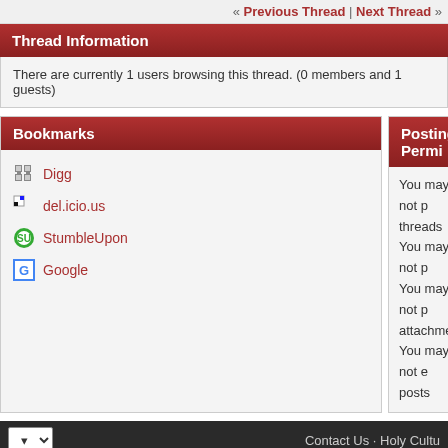« Previous Thread | Next Thread »
Thread Information
There are currently 1 users browsing this thread. (0 members and 1 guests)
Bookmarks
Digg
del.icio.us
StumbleUpon
Google
Posting Permissions
You may not post new threads
You may not post replies
You may not post attachments
You may not edit your posts
Contact Us · Holy Culture
All times are GMT -4. The time now is 11:40. Powered by vBulletin® Version 4.2.4. Copyright © 2022 vBulletin Solutions, Inc. All rights reserved. Designed By vBInspired.com